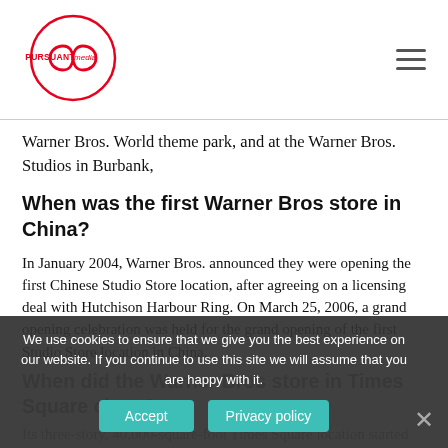[Figure (logo): Pursuant Media logo — infinity loop with 'PURSUANT' text on left lobe and 'media' in red on right lobe, in a red circular outline]
Warner Bros. World theme park, and at the Warner Bros. Studios in Burbank,
When was the first Warner Bros store in China?
In January 2004, Warner Bros. announced they were opening the first Chinese Studio Store location, after agreeing on a licensing deal with Hutchison Harbour Ring. On March 25, 2006, a grand opening celebration was held for the grand opening of the first Studio Store location in China.
When did the Warner Bros store in Times Square close?
Its three-story, 40,000-square-foot Times Square location started liquidation in July and closed in
We use cookies to ensure that we give you the best experience on our website. If you continue to use this site we will assume that you are happy with it.